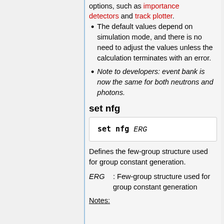options, such as importance detectors and track plotter.
The default values depend on simulation mode, and there is no need to adjust the values unless the calculation terminates with an error.
Note to developers: event bank is now the same for both neutrons and photons.
set nfg
Defines the few-group structure used for group constant generation.
ERG : Few-group structure used for group constant generation
Notes: